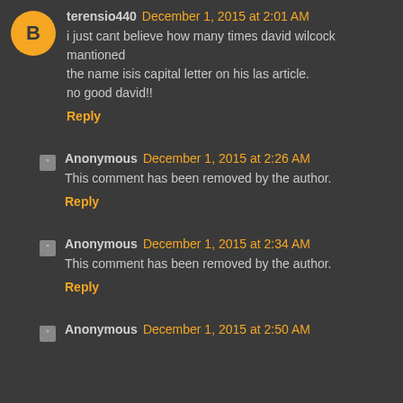terensio440 December 1, 2015 at 2:01 AM
i just cant believe how many times david wilcock mantioned the name isis capital letter on his las article.
no good david!!
Reply
Anonymous December 1, 2015 at 2:26 AM
This comment has been removed by the author.
Reply
Anonymous December 1, 2015 at 2:34 AM
This comment has been removed by the author.
Reply
Anonymous December 1, 2015 at 2:50 AM